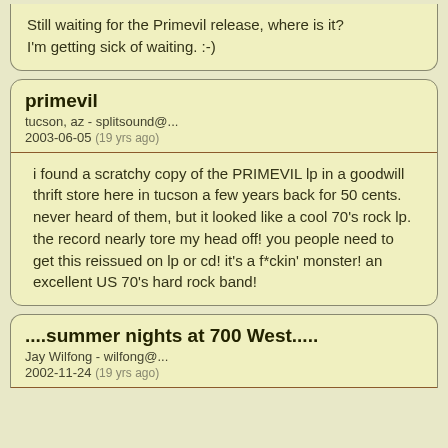Still waiting for the Primevil release, where is it? I'm getting sick of waiting. :-)
primevil
tucson, az - splitsound@...
2003-06-05 (19 yrs ago)
i found a scratchy copy of the PRIMEVIL lp in a goodwill thrift store here in tucson a few years back for 50 cents. never heard of them, but it looked like a cool 70's rock lp. the record nearly tore my head off! you people need to get this reissued on lp or cd! it's a f*ckin' monster! an excellent US 70's hard rock band!
....summer nights at 700 West.....
Jay Wilfong - wilfong@...
2002-11-24 (19 yrs ago)